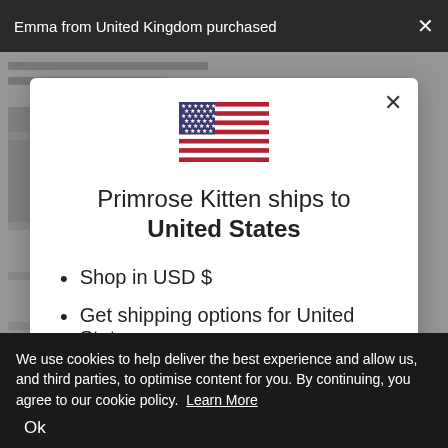Emma from United Kingdom purchased
[Figure (screenshot): Modal dialog on a website showing a US flag and shipping destination selector for Primrose Kitten]
Primrose Kitten ships to United States
Shop in USD $
Get shipping options for United States
We use cookies to help deliver the best experience and allow us, and third parties, to optimise content for you. By continuing, you agree to our cookie policy. Learn More
Ok